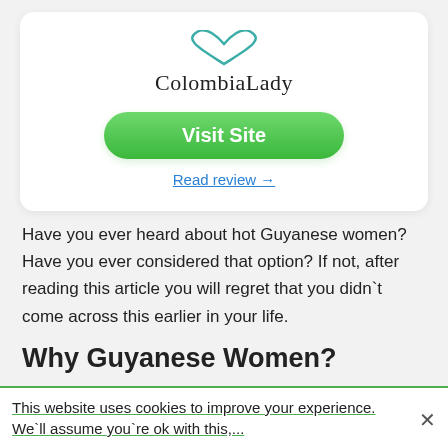[Figure (logo): ColombiaLady logo with teal heart shape above text]
Visit Site
Read review →
Have you ever heard about hot Guyanese women? Have you ever considered that option? If not, after reading this article you will regret that you didn`t come across this earlier in your life.
Why Guyanese Women?
This website uses cookies to improve your experience. We`ll assume you`re ok with this,...